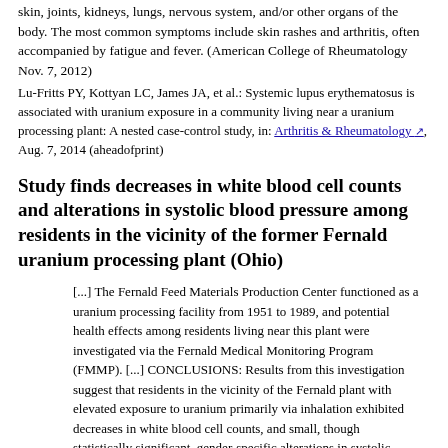skin, joints, kidneys, lungs, nervous system, and/or other organs of the body. The most common symptoms include skin rashes and arthritis, often accompanied by fatigue and fever. (American College of Rheumatology Nov. 7, 2012)
Lu-Fritts PY, Kottyan LC, James JA, et al.: Systemic lupus erythematosus is associated with uranium exposure in a community living near a uranium processing plant: A nested case-control study, in: Arthritis & Rheumatology, Aug. 7, 2014 (aheadofprint)
Study finds decreases in white blood cell counts and alterations in systolic blood pressure among residents in the vicinity of the former Fernald uranium processing plant (Ohio)
[...] The Fernald Feed Materials Production Center functioned as a uranium processing facility from 1951 to 1989, and potential health effects among residents living near this plant were investigated via the Fernald Medical Monitoring Program (FMMP). [...] CONCLUSIONS: Results from this investigation suggest that residents in the vicinity of the Fernald plant with elevated exposure to uranium primarily via inhalation exhibited decreases in white blood cell counts, and small, though statistically significant, gender-specific alterations in systolic blood pressure at entry into the FMMP.
Wagner SE, Burch JB, Bottai M, et al.: Uranium exposures in a community near a